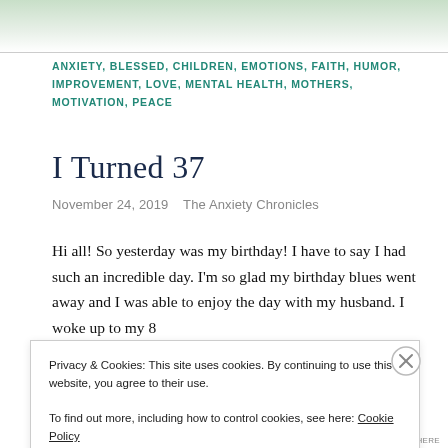[Figure (photo): Top decorative green/nature image banner area]
ANXIETY, BLESSED, CHILDREN, EMOTIONS, FAITH, HUMOR, IMPROVEMENT, LOVE, MENTAL HEALTH, MOTHERS, MOTIVATION, PEACE
I Turned 37
November 24, 2019   The Anxiety Chronicles
Hi all! So yesterday was my birthday! I have to say I had such an incredible day. I'm so glad my birthday blues went away and I was able to enjoy the day with my husband. I woke up to my 8
Privacy & Cookies: This site uses cookies. By continuing to use this website, you agree to their use.
To find out more, including how to control cookies, see here: Cookie Policy
Close and accept